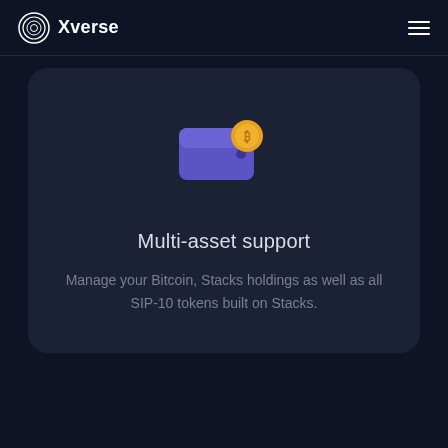Xverse
[Figure (illustration): Xverse wallet app feature card showing a purple wallet icon with a gold coin, titled Multi-asset support]
Multi-asset support
Manage your Bitcoin, Stacks holdings as well as all SIP-10 tokens built on Stacks.